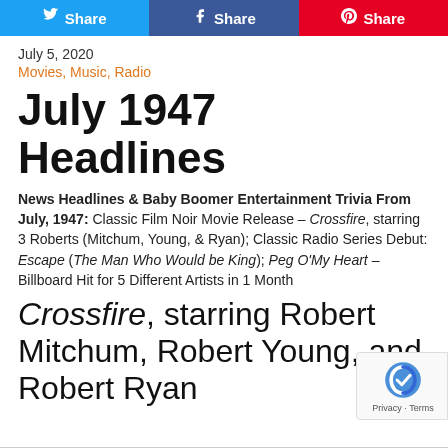[Figure (other): Three social share buttons: Twitter Share (blue), Facebook Share (dark blue), Pinterest Share (red)]
July 5, 2020
Movies, Music, Radio
July 1947 Headlines
News Headlines & Baby Boomer Entertainment Trivia From July, 1947: Classic Film Noir Movie Release – Crossfire, starring 3 Roberts (Mitchum, Young, & Ryan); Classic Radio Series Debut: Escape (The Man Who Would be King); Peg O'My Heart – Billboard Hit for 5 Different Artists in 1 Month
Crossfire, starring Robert Mitchum, Robert Young, and Robert Ryan